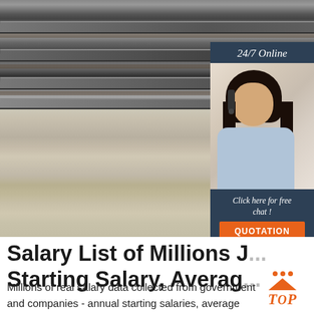[Figure (photo): Photo of metal railway tracks/rails with gravel, and an advertisement overlay showing a customer support woman with headset. Ad reads '24/7 Online', 'Click here for free chat!', 'QUOTATION']
Salary List of Millions J... Starting Salary, Averag...
Millions of real salary data collected from government and companies - annual starting salaries, average salaries, payscale by company, job title, and city. Information for research of yearly salaries, wage level, bonus and compensation